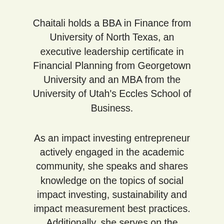Chaitali holds a BBA in Finance from University of North Texas, an executive leadership certificate in Financial Planning from Georgetown University and an MBA from the University of Utah's Eccles School of Business.
As an impact investing entrepreneur actively engaged in the academic community, she speaks and shares knowledge on the topics of social impact investing, sustainability and impact measurement best practices. Additionally, she serves on the boards of social impact organizations working to advance STEM